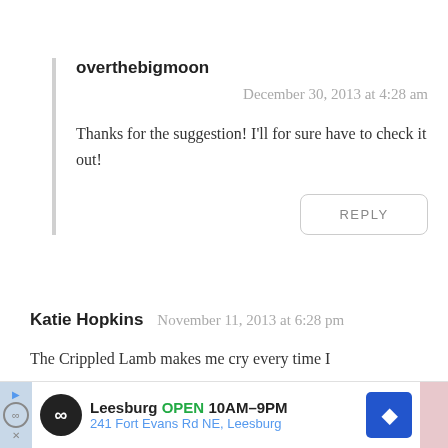overthebigmoon
December 30, 2013 at 4:28 am
Thanks for the suggestion! I'll for sure have to check it out!
REPLY
Katie Hopkins   November 11, 2013 at 6:28 pm
The Crippled Lamb makes me cry every time I
[Figure (screenshot): Advertisement banner for Leesburg store: open 10AM-9PM, 241 Fort Evans Rd NE, Leesburg]